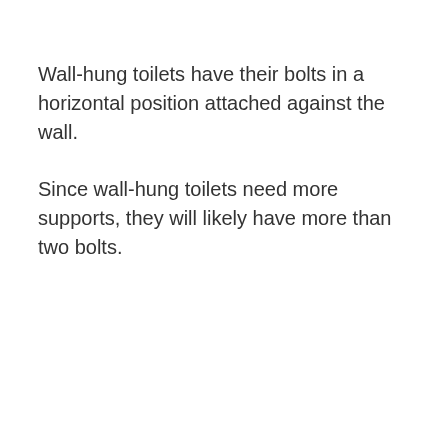Wall-hung toilets have their bolts in a horizontal position attached against the wall.
Since wall-hung toilets need more supports, they will likely have more than two bolts.